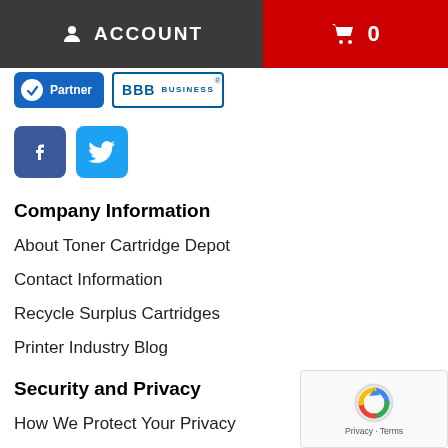ACCOUNT  [cart icon] 0
[Figure (logo): Partner badge (blue) and BBB Business badge]
[Figure (logo): Facebook and Twitter social media icons]
Company Information
About Toner Cartridge Depot
Contact Information
Recycle Surplus Cartridges
Printer Industry Blog
Security and Privacy
How We Protect Your Privacy
Our Privacy Policy
Terms and Conditions
[Figure (other): reCAPTCHA widget with Privacy and Terms links]